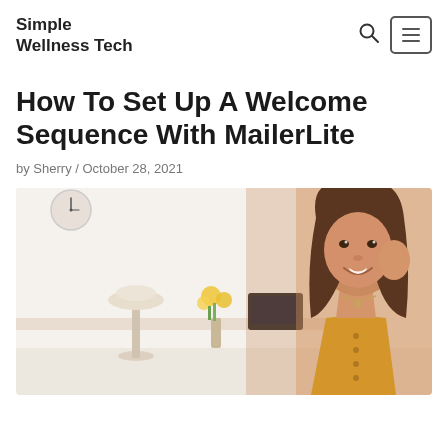Simple Wellness Tech
How To Set Up A Welcome Sequence With MailerLite
by Sherry / October 28, 2021
[Figure (photo): Smiling young woman with long brown hair, wearing a mustard yellow top, in a bright home office setting with a lamp, flowers, and a tablet visible in the background.]